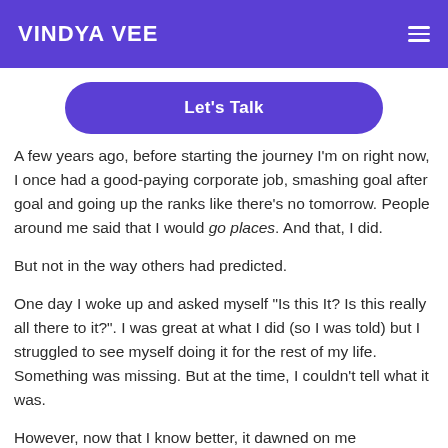VINDYA VEE
Let's Talk
A few years ago, before starting the journey I'm on right now, I once had a good-paying corporate job, smashing goal after goal and going up the ranks like there's no tomorrow. People around me said that I would go places. And that, I did.
But not in the way others had predicted.
One day I woke up and asked myself "Is this It? Is this really all there to it?". I was great at what I did (so I was told) but I struggled to see myself doing it for the rest of my life. Something was missing. But at the time, I couldn't tell what it was.
However, now that I know better, it dawned on me